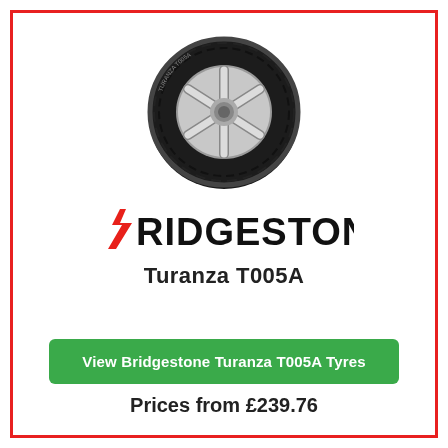[Figure (photo): Bridgestone Turanza T005A tyre with silver alloy wheel, viewed at an angle from the front]
[Figure (logo): Bridgestone logo with red stylized B and bold black RIDGESTONE text]
Turanza T005A
View Bridgestone Turanza T005A Tyres
Prices from £239.76